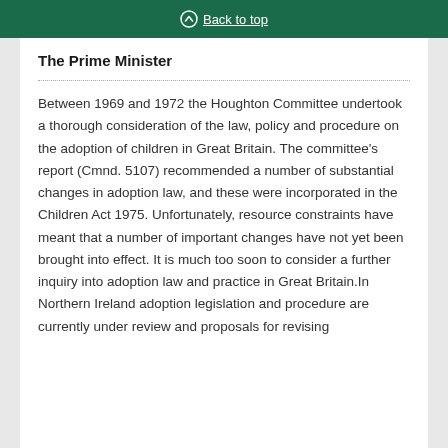Back to top
The Prime Minister
Between 1969 and 1972 the Houghton Committee undertook a thorough consideration of the law, policy and procedure on the adoption of children in Great Britain. The committee's report (Cmnd. 5107) recommended a number of substantial changes in adoption law, and these were incorporated in the Children Act 1975. Unfortunately, resource constraints have meant that a number of important changes have not yet been brought into effect. It is much too soon to consider a further inquiry into adoption law and practice in Great Britain.In Northern Ireland adoption legislation and procedure are currently under review and proposals for revising